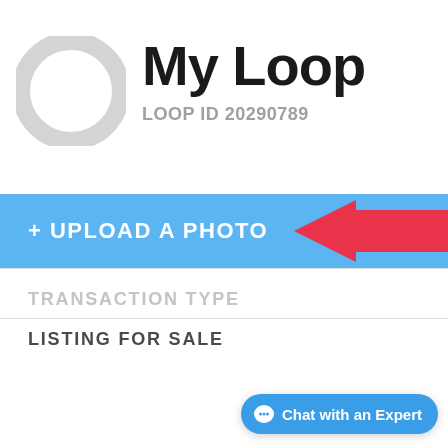[Figure (illustration): Circular grey placeholder avatar/profile icon (ring shape)]
My Loop
LOOP ID 20290789
[Figure (infographic): Blue button bar with white text '+ UPLOAD A PHOTO' and a large red/pink arrow pointing left toward the button]
TRANSACTION TYPE
LISTING FOR SALE
[Figure (other): Blue rounded pill button labeled 'Chat with an Expert' with a chat bubble icon]